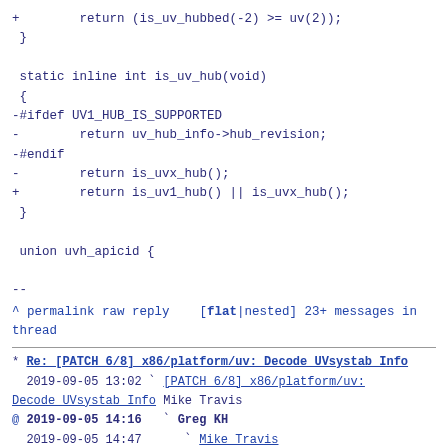+        return (is_uv_hubbed(-2) >= uv(2));
 }

 static inline int is_uv_hub(void)
 {
-#ifdef UV1_HUB_IS_SUPPORTED
-        return uv_hub_info->hub_revision;
-#endif
-        return is_uvx_hub();
+        return is_uv1_hub() || is_uvx_hub();
 }

 union uvh_apicid {

--
^ permalink raw reply    [flat|nested] 23+ messages in thread
* Re: [PATCH 6/8] x86/platform/uv: Decode UVsystab Info
  2019-09-05 13:02 ` [PATCH 6/8] x86/platform/uv: Decode UVsystab Info Mike Travis
@ 2019-09-05 14:16   ` Greg KH
  2019-09-05 14:47     ` Mike Travis
  2019-09-05 21:40     ` Sasha Levin
  0 siblings, 2 replies; 23+ messages in thread
From: Greg KH @ 2019-09-05 14:16 UTC (permalink / raw)
   To: Mike Travis
   Cc: Thomas Gleixner, Ingo Molnar, H. Peter Anvin,